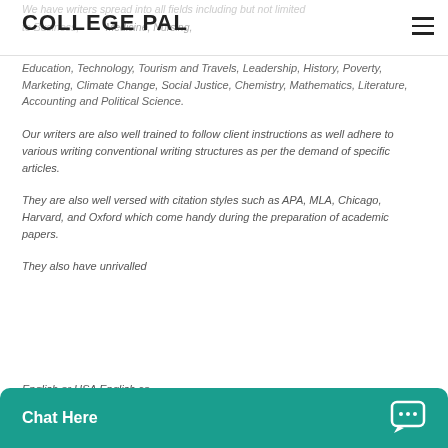COLLEGE PAL
We have writers spread into all fields including but not limited to Business, Medicine, Nursing, Education, Technology, Tourism and Travels, Leadership, History, Poverty, Marketing, Climate Change, Social Justice, Chemistry, Mathematics, Literature, Accounting and Political Science.
Our writers are also well trained to follow client instructions as well adhere to various writing conventional writing structures as per the demand of specific articles.
They are also well versed with citation styles such as APA, MLA, Chicago, Harvard, and Oxford which come handy during the preparation of academic papers.
They also have unrivalled knowledge in both British English or USA English co...
Chat Here